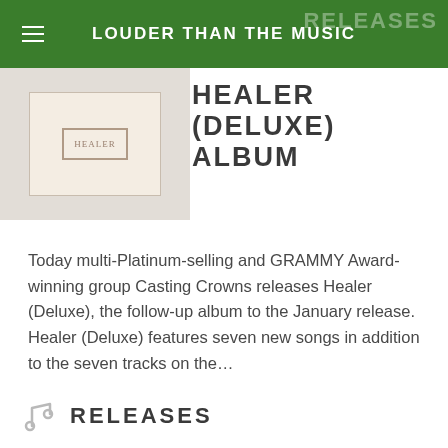LOUDER THAN THE MUSIC
HEALER (DELUXE) ALBUM
[Figure (photo): Album cover for Healer (Deluxe) showing a beige/cream cover with a red stamp-style logo]
Today multi-Platinum-selling and GRAMMY Award-winning group Casting Crowns releases Healer (Deluxe), the follow-up album to the January release. Healer (Deluxe) features seven new songs in addition to the seven tracks on the…
MORE NEWS
RELEASES